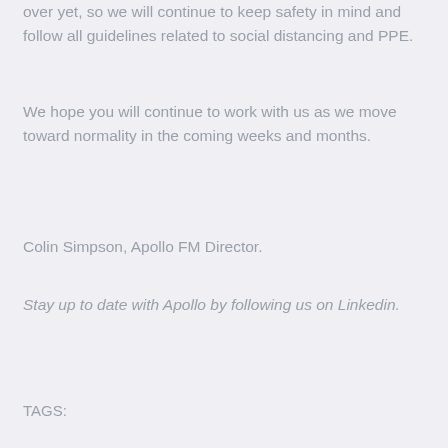over yet, so we will continue to keep safety in mind and follow all guidelines related to social distancing and PPE.
We hope you will continue to work with us as we move toward normality in the coming weeks and months.
Colin Simpson, Apollo FM Director.
Stay up to date with Apollo by following us on Linkedin.
TAGS: